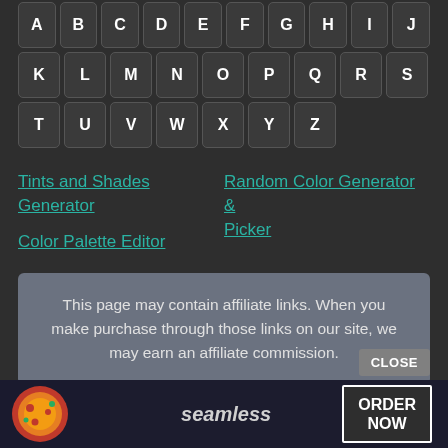[Figure (screenshot): Keyboard-style letter buttons arranged in rows: Row 1: A B C D E F G H I J, Row 2: K L M N O P Q R S, Row 3: T U V W X Y Z]
Tints and Shades Generator
Random Color Generator & Picker
Color Palette Editor
This page may contain affiliate links. When you make purchase through those links on our site, we may earn an affiliate commission.
© 2022 - colorxs.com
appsious.com (App Discovery Platform)
hashtagmenow.com (Hashtag Generator)
[Figure (screenshot): Advertisement banner for Seamless food delivery with pizza image, Seamless logo, and ORDER NOW button. Also a CLOSE button.]